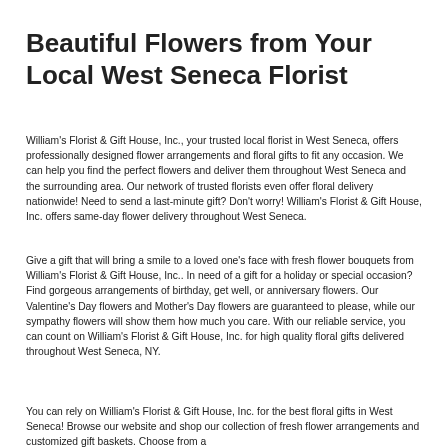Beautiful Flowers from Your Local West Seneca Florist
William's Florist & Gift House, Inc., your trusted local florist in West Seneca, offers professionally designed flower arrangements and floral gifts to fit any occasion. We can help you find the perfect flowers and deliver them throughout West Seneca and the surrounding area. Our network of trusted florists even offer floral delivery nationwide! Need to send a last-minute gift? Don't worry! William's Florist & Gift House, Inc. offers same-day flower delivery throughout West Seneca.
Give a gift that will bring a smile to a loved one's face with fresh flower bouquets from William's Florist & Gift House, Inc.. In need of a gift for a holiday or special occasion? Find gorgeous arrangements of birthday, get well, or anniversary flowers. Our Valentine's Day flowers and Mother's Day flowers are guaranteed to please, while our sympathy flowers will show them how much you care. With our reliable service, you can count on William's Florist & Gift House, Inc. for high quality floral gifts delivered throughout West Seneca, NY.
You can rely on William's Florist & Gift House, Inc. for the best floral gifts in West Seneca! Browse our website and shop our collection of fresh flower arrangements and customized gift baskets. Choose from a